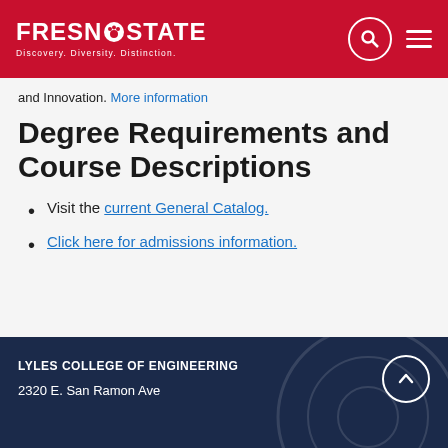[Figure (logo): Fresno State logo with paw print icon and tagline 'Discovery. Diversity. Distinction.']
and Innovation. More information
Degree Requirements and Course Descriptions
Visit the current General Catalog.
Click here for admissions information.
LYLES COLLEGE OF ENGINEERING
2320 E. San Ramon Ave